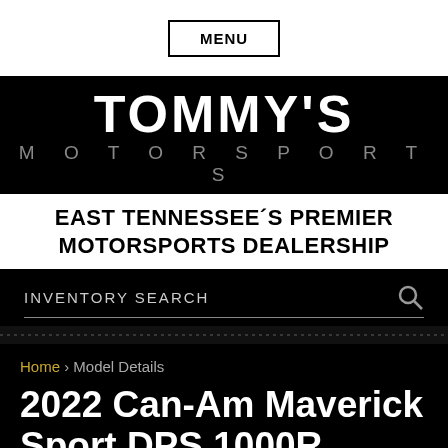MENU
TOMMY'S MOTORSPORTS
EAST TENNESSEE'S PREMIER MOTORSPORTS DEALERSHIP
INVENTORY SEARCH
Home › Model Details
2022 Can-Am Maverick Sport DPS 1000R
Triple Black New Utility Vehicles